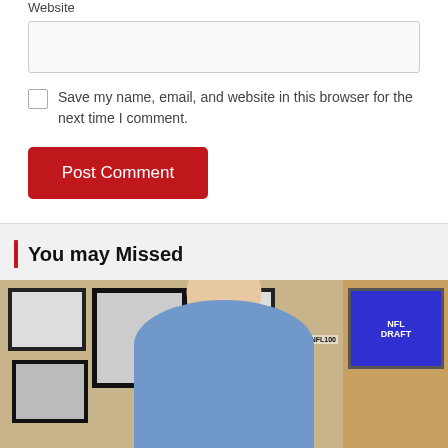Website
[Figure (screenshot): Empty text input field for website URL]
Save my name, email, and website in this browser for the next time I comment.
Post Comment
You may Missed
[Figure (photo): A man in a blue shirt smiling, seated at a desk surrounded by framed black-and-white photos on a wood-paneled wall. A TV showing NFL Draft branding is visible on the right, and an NFL100 football is on the desk.]